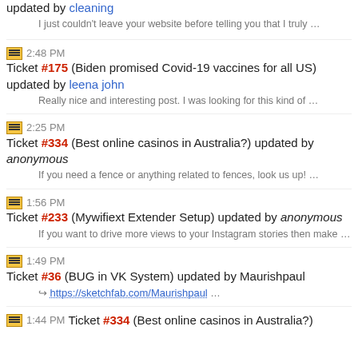updated by cleaning
I just couldn't leave your website before telling you that I truly …
2:48 PM Ticket #175 (Biden promised Covid-19 vaccines for all US) updated by leena john
Really nice and interesting post. I was looking for this kind of …
2:25 PM Ticket #334 (Best online casinos in Australia?) updated by anonymous
If you need a fence or anything related to fences, look us up! …
1:56 PM Ticket #233 (Mywifiext Extender Setup) updated by anonymous
If you want to drive more views to your Instagram stories then make …
1:49 PM Ticket #36 (BUG in VK System) updated by Maurishpaul
https://sketchfab.com/Maurishpaul …
1:44 PM Ticket #334 (Best online casinos in Australia?)